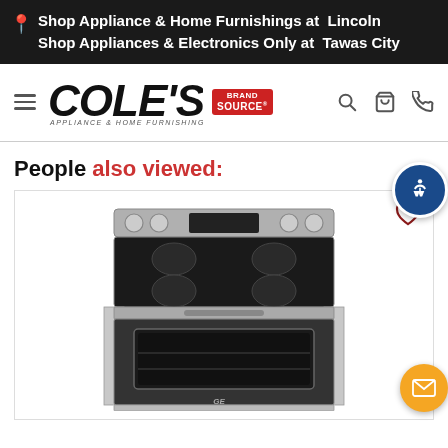Shop Appliance & Home Furnishings at Lincoln Shop Appliances & Electronics Only at Tawas City
[Figure (logo): Cole's Appliance & Home Furnishings Brand Source logo with hamburger menu and navigation icons (search, cart, phone)]
People also viewed:
[Figure (photo): GE stainless steel freestanding electric range/stove with glass cooktop and oven window, shown against white background]